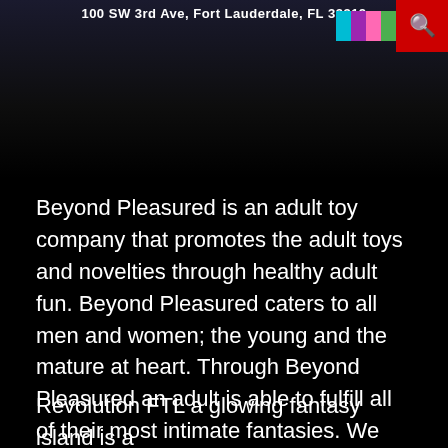[Figure (screenshot): Website banner showing address '100 SW 3rd Ave, Fort Lauderdale, FL 33312' with a red search button in top right and colorful graphic element]
Beyond Pleasured is an adult toy company that promotes the adult toys and novelties through healthy adult fun. Beyond Pleasured caters to all men and women; the young and the mature at heart. Through Beyond Pleasured an adult is able to fulfill all of their most intimate fantasies. We are here to cater to our customers with discreteness and respect.
Revolution FTL a glowing fantasy island is a